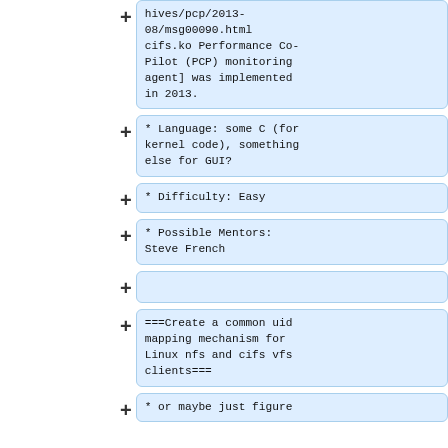hives/pcp/2013-08/msg00090.html cifs.ko Performance Co-Pilot (PCP) monitoring agent] was implemented in 2013.
* Language: some C (for kernel code), something else for GUI?
* Difficulty: Easy
* Possible Mentors: Steve French
===Create a common uid mapping mechanism for Linux nfs and cifs vfs clients===
* or maybe just figure